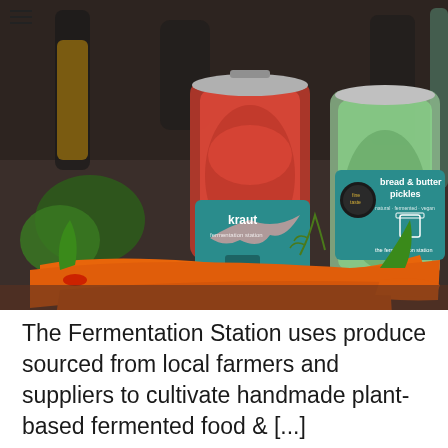[Figure (photo): Photo of fermented food jars labeled 'kraut' and 'bread & butter pickles' from The Fermentation Station, surrounded by fresh vegetables including carrots, herbs, and other produce on a dark surface.]
The Fermentation Station uses produce sourced from local farmers and suppliers to cultivate handmade plant-based fermented food & [...]